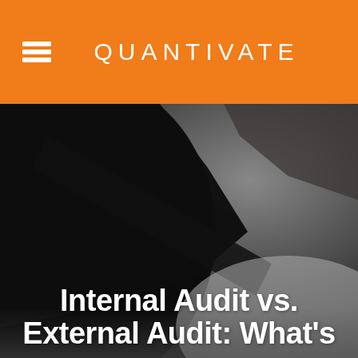QUANTIVATE
[Figure (photo): Dark close-up photo of a hand holding or touching a pen or gavel on a surface, very dark and moody lighting with blurred background transitioning from black to gray]
Internal Audit vs. External Audit: What's